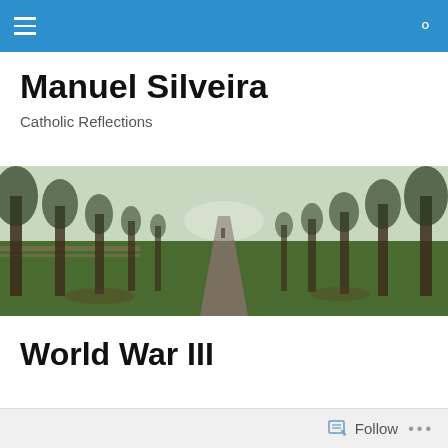Manuel Silveira
Catholic Reflections
[Figure (photo): A tree-lined path or country lane receding into the misty distance, with bare-leafed trees on both sides and green grass, a wooden fence on the left, shot in daylight.]
World War III
Follow